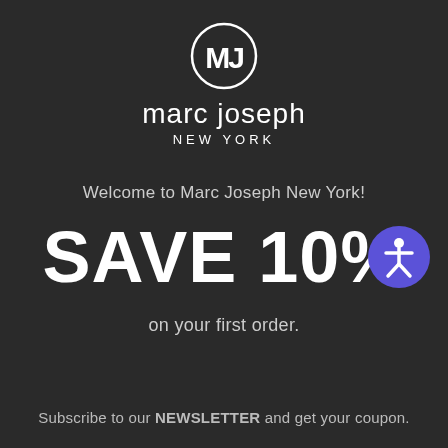[Figure (logo): Marc Joseph New York logo: circular emblem with stylized MJ monogram in white, brand name 'marc joseph' in white below, 'NEW YORK' in smaller spaced caps beneath]
Welcome to Marc Joseph New York!
SAVE 10%
on your first order.
Subscribe to our NEWSLETTER and get your coupon.